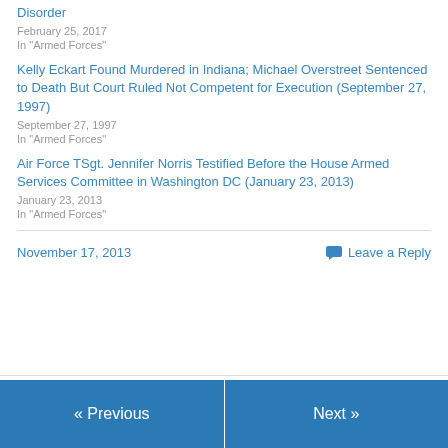Disorder
February 25, 2017
In "Armed Forces"
Kelly Eckart Found Murdered in Indiana; Michael Overstreet Sentenced to Death But Court Ruled Not Competent for Execution (September 27, 1997)
September 27, 1997
In "Armed Forces"
Air Force TSgt. Jennifer Norris Testified Before the House Armed Services Committee in Washington DC (January 23, 2013)
January 23, 2013
In "Armed Forces"
November 17, 2013
Leave a Reply
« Previous
Next »